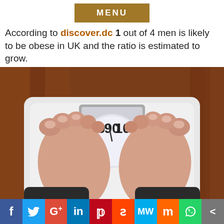MENU
According to discover.dc 1 out of 4 men is likely to be obese in UK and the ratio is estimated to grow.
[Figure (photo): Person standing on a bathroom weight scale, viewed from above, showing bare feet on a white scale with a dial reading near 90 kg, on a wooden floor background.]
f  Twitter  G+  in  Pinterest  Reddit  MW  Mix  WhatsApp  Share